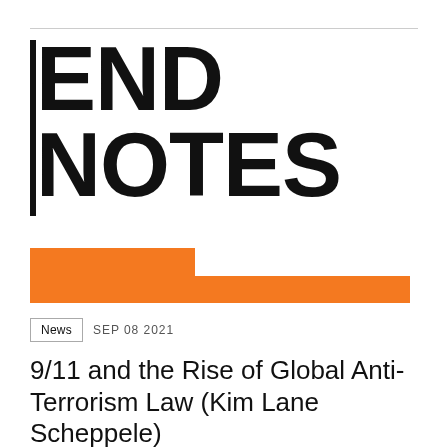[Figure (logo): END NOTES publication logo in bold black sans-serif type with a vertical bar on the left side and an orange geometric graphic strip below]
News   SEP 08 2021
9/11 and the Rise of Global Anti-Terrorism Law (Kim Lane Scheppele)